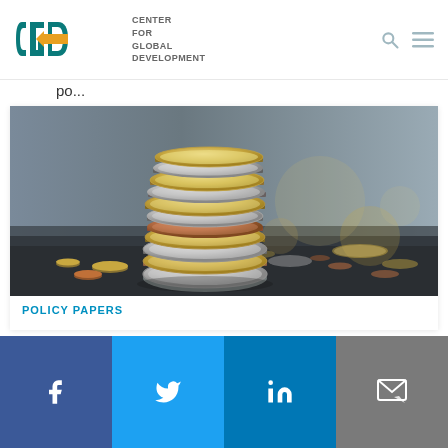[Figure (logo): Center for Global Development (CGD) logo with teal and yellow shield/arrow mark and organization name text]
po...
[Figure (photo): Stack of various euro coins piled high on a dark surface with scattered coins in the background, shallow depth of field]
POLICY PAPERS
[Figure (infographic): Social media share bar with Facebook, Twitter, LinkedIn, and Email icons on colored backgrounds]